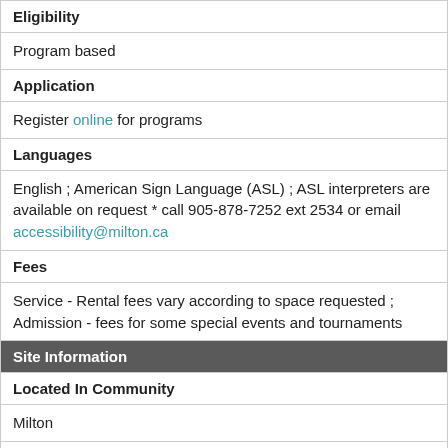| Eligibility |
| Program based |
| Application |
| Register online for programs |
| Languages |
| English ; American Sign Language (ASL) ; ASL interpreters are available on request * call 905-878-7252 ext 2534 or email accessibility@milton.ca |
| Fees |
| Service - Rental fees vary according to space requested ; Admission - fees for some special events and tournaments |
| Site Information |
| Located In Community |
| Milton |
| Address & Map |
| 605 Santa Maria Blvd
Milton, ON L9T 6J5

View Google Map |